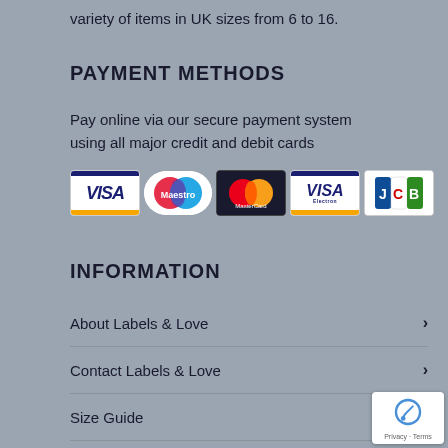variety of items in UK sizes from 6 to 16.
PAYMENT METHODS
Pay online via our secure payment system using all major credit and debit cards
[Figure (other): Payment card logos: VISA, Maestro, MasterCard, VISA Electron, JCB]
INFORMATION
About Labels & Love
Contact Labels & Love
Size Guide